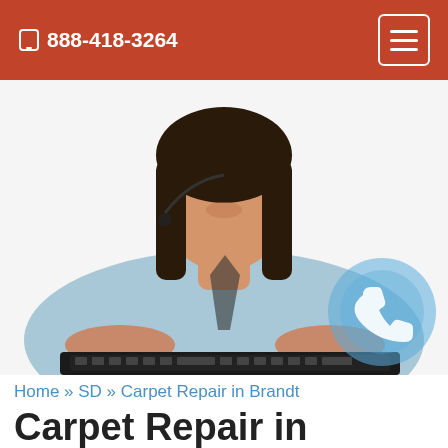📱 888-418-3264
[Figure (photo): Woman in light blue shirt wearing a headset, typing on a keyboard, smiling, white background, customer service representative]
Home » SD » Carpet Repair in Brandt
Carpet Repair in Brandt